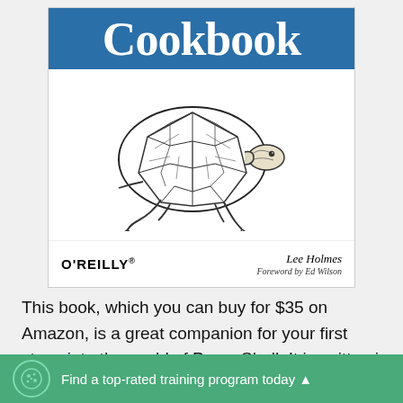[Figure (illustration): O'Reilly book cover showing the word 'Cookbook' on a blue banner at top, with a detailed black and white engraving of a tortoise/turtle in the center, O'REILLY logo at bottom left, and author name 'Lee Holmes, Foreword by Ed Wilson' at bottom right]
This book, which you can buy for $35 on Amazon, is a great companion for your first steps into the world of PowerShell. It is written in the popular
Find a top-rated training program today ▲